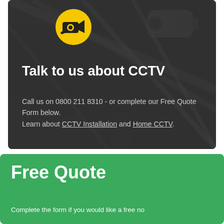[Figure (photo): Dark overlay background showing CCTV camera mounted on ceiling, with a yellow circular logo featuring a security camera icon in the upper area]
Talk to us about CCTV
Call us on 0800 211 8310 - or complete our Free Quote Form below. Learn about CCTV Installation and Home CCTV.
Free Quote
Complete the form if you would like a free no